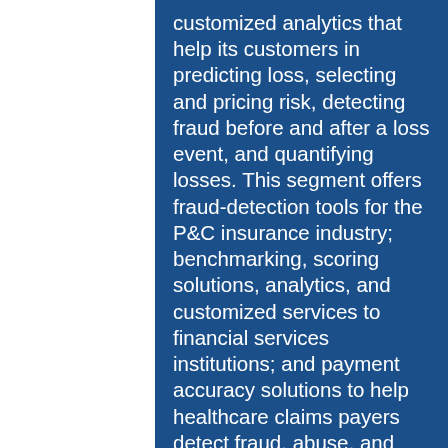customized analytics that help its customers in predicting loss, selecting and pricing risk, detecting fraud before and after a loss event, and quantifying losses. This segment offers fraud-detection tools for the P&C insurance industry; benchmarking, scoring solutions, analytics, and customized services to financial services institutions; and payment accuracy solutions to help healthcare claims payers detect fraud, abuse, and overpayment, as well as helps businesses and governments to anticipate and manage climate-and weather-related risks.